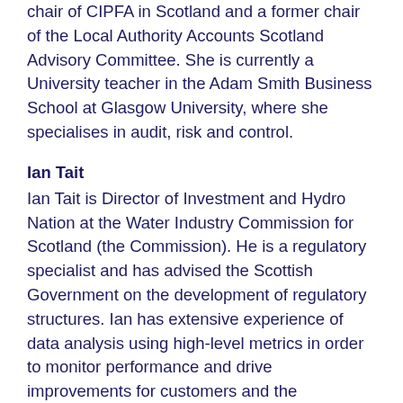chair of CIPFA in Scotland and a former chair of the Local Authority Accounts Scotland Advisory Committee. She is currently a University teacher in the Adam Smith Business School at Glasgow University, where she specialises in audit, risk and control.
Ian Tait
Ian Tait is Director of Investment and Hydro Nation at the Water Industry Commission for Scotland (the Commission). He is a regulatory specialist and has advised the Scottish Government on the development of regulatory structures. Ian has extensive experience of data analysis using high-level metrics in order to monitor performance and drive improvements for customers and the environment. His previous posts include Strategic